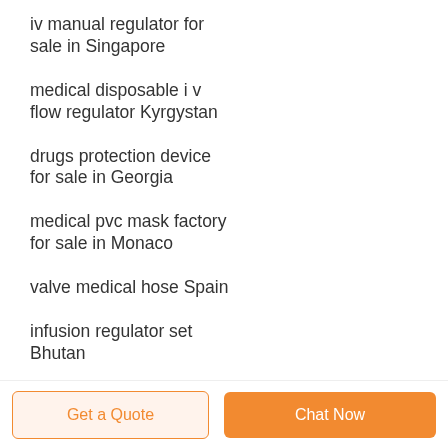iv manual regulator for sale in Singapore
medical disposable i v flow regulator Kyrgystan
drugs protection device for sale in Georgia
medical pvc mask factory for sale in Monaco
valve medical hose Spain
infusion regulator set Bhutan
precision regulator Portugal
Get a Quote  Chat Now